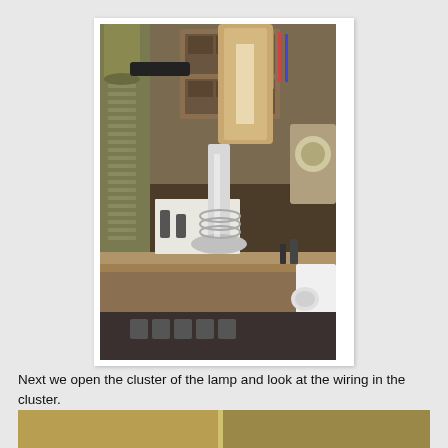[Figure (photo): A workshop bench scene showing a decorative floor lamp base with ribbed column and brass fitting on the left, a chrome lamp cluster/harp holder in the center, a tan cylindrical lamp shade in the background, small metal nipples/tubes on the bench, and various tools and workshop clutter in the background. The bench has a worn wooden edge and there are sockets and hardware visible.]
Next we open the cluster of the lamp and look at the wiring in the cluster.
[Figure (photo): Partial view of another lamp or hardware component at the bottom of the page, partially cropped.]